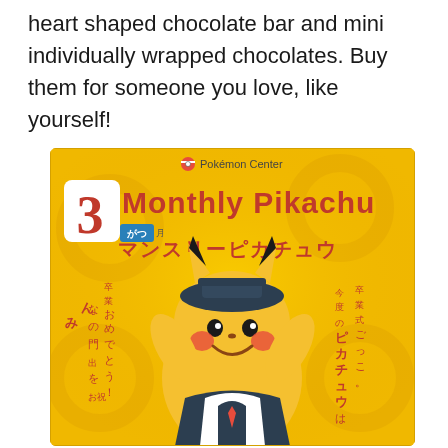heart shaped chocolate bar and mini individually wrapped chocolates. Buy them for someone you love, like yourself!
[Figure (photo): Pokémon Center Monthly Pikachu March product packaging showing Pikachu wearing a graduation cap and sailor uniform, with Japanese text on both sides reading graduation congratulations]